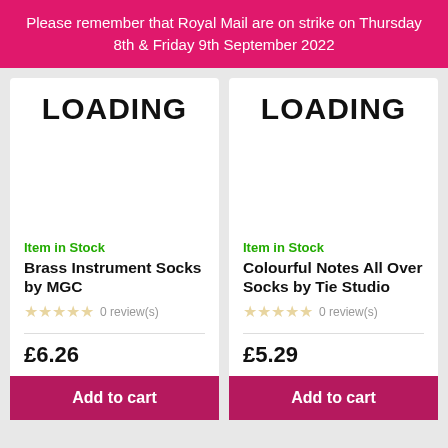Please remember that Royal Mail are on strike on Thursday 8th & Friday 9th September 2022
LOADING
Item in Stock
Brass Instrument Socks by MGC
0 review(s)
£6.26
Add to cart
LOADING
Item in Stock
Colourful Notes All Over Socks by Tie Studio
0 review(s)
£5.29
Add to cart